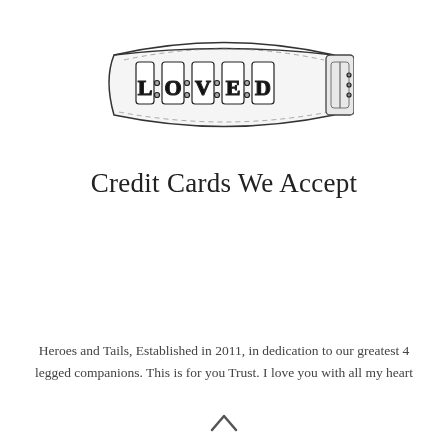[Figure (illustration): Black and white engraving illustration of a dog collar with the word LOVED spelled out in decorative letters on the band, with a buckle visible on the right side.]
Credit Cards We Accept
Heroes and Tails, Established in 2011, in dedication to our greatest 4 legged companions. This is for you Trust. I love you with all my heart
[Figure (illustration): Upward pointing chevron / caret arrow icon]